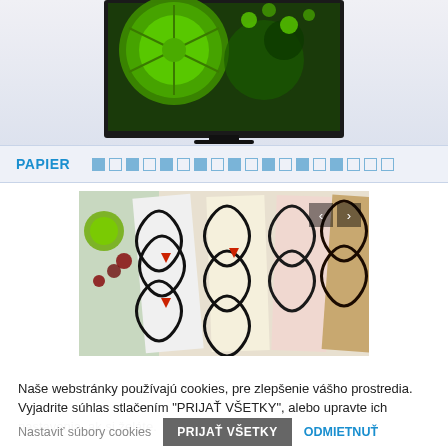[Figure (photo): TV screen displaying a green lime/citrus fruit with water splash on dark background, shown in a dark-framed TV set, partial view from top]
PAPIER
[Figure (photo): Product carousel showing decorative paper/wrapping with swirling black patterns on various colored backgrounds (white, yellow, pink, brown), with navigation arrows]
Naše webstránky používajú cookies, pre zlepšenie vášho prostredia. Vyjadrite súhlas stlačením "PRIJAŤ VŠETKY", alebo upravte ich nastavenia, ak si želáte.
Nastaviť súbory cookies
PRIJAŤ VŠETKY
ODMIETNUŤ